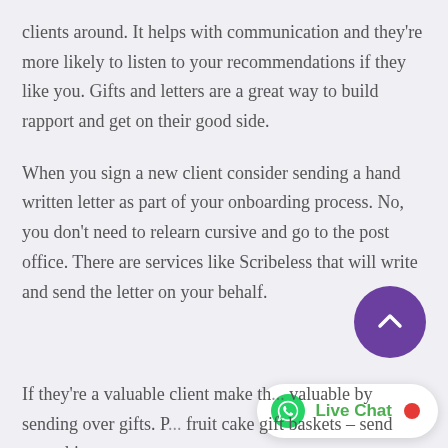clients around. It helps with communication and they're more likely to listen to your recommendations if they like you. Gifts and letters are a great way to build rapport and get on their good side.
When you sign a new client consider sending a hand written letter as part of your onboarding process. No, you don't need to relearn cursive and go to the post office. There are services like Scribeless that will write and send the letter on your behalf.
If they're a valuable client make th valuable by sending over gifts. P fruit cake gift baskets – send something